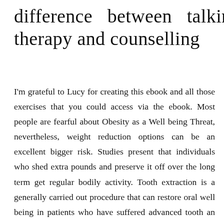difference between talking therapy and counselling
I'm grateful to Lucy for creating this ebook and all those exercises that you could access via the ebook. Most people are fearful about Obesity as a Well being Threat, nevertheless, weight reduction options can be an excellent bigger risk. Studies present that individuals who shed extra pounds and preserve it off over the long term get regular bodily activity. Tooth extraction is a generally carried out procedure that can restore oral well being in patients who have suffered advanced tooth an infection, an accident, or tooth impaction. As well as, by way of clinical trials, we are in a position to offer you new therapy choices, such as immunotherapy that targets cancer cells.